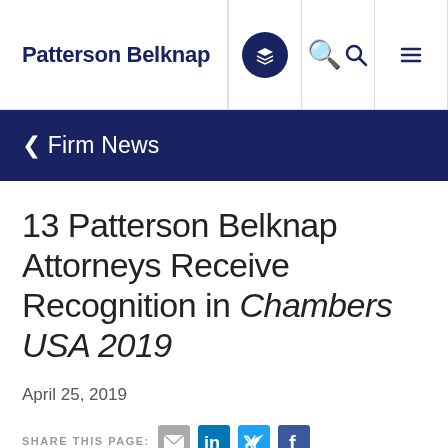Patterson Belknap
< Firm News
13 Patterson Belknap Attorneys Receive Recognition in Chambers USA 2019
April 25, 2019
SHARE THIS PAGE: